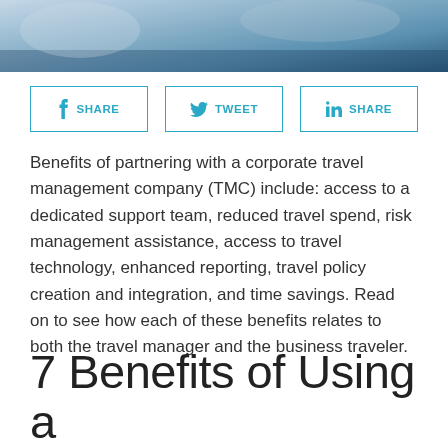[Figure (photo): Photo of a person working at a desk with documents and papers, business/travel management context]
[Figure (infographic): Three social sharing buttons: Facebook SHARE, Twitter TWEET, LinkedIn SHARE — outlined in teal/cyan]
Benefits of partnering with a corporate travel management company (TMC) include: access to a dedicated support team, reduced travel spend, risk management assistance, access to travel technology, enhanced reporting, travel policy creation and integration, and time savings. Read on to see how each of these benefits relates to both the travel manager and the business traveler.
7 Benefits of Using a